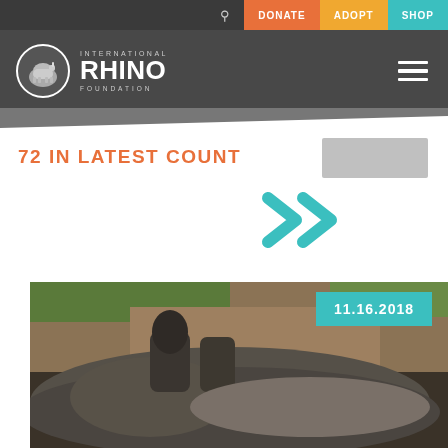DONATE  ADOPT  SHOP
[Figure (logo): International Rhino Foundation logo with rhino in circle and text]
72 IN LATEST COUNT
[Figure (photo): Close-up photo of a rhino lying on the ground, date badge 11.16.2018]
11.16.2018